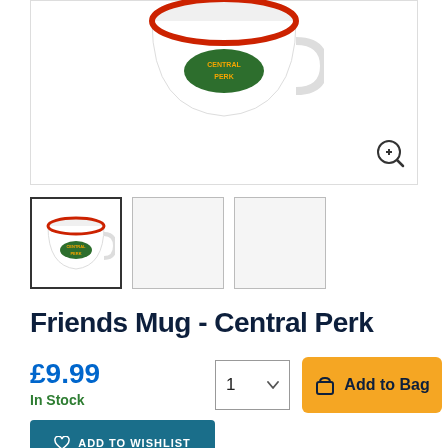[Figure (photo): Top portion of a white Central Perk themed mug visible against white background, with zoom icon in bottom right]
[Figure (photo): Three product thumbnail images: first shows the Central Perk mug (active/selected), second and third are blank placeholder images]
Friends Mug - Central Perk
£9.99
In Stock
1
Add to Bag
ADD TO WISHLIST